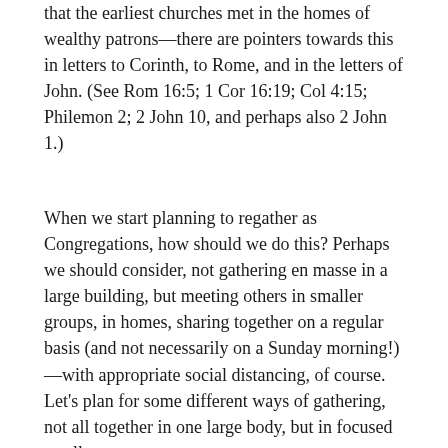that the earliest churches met in the homes of wealthy patrons—there are pointers towards this in letters to Corinth, to Rome, and in the letters of John. (See Rom 16:5; 1 Cor 16:19; Col 4:15; Philemon 2; 2 John 10, and perhaps also 2 John 1.)
When we start planning to regather as Congregations, how should we do this? Perhaps we should consider, not gathering en masse in a large building, but meeting others in smaller groups, in homes, sharing together on a regular basis (and not necessarily on a Sunday morning!)—with appropriate social distancing, of course. Let's plan for some different ways of gathering, not all together in one large body, but in focused smaller groups.